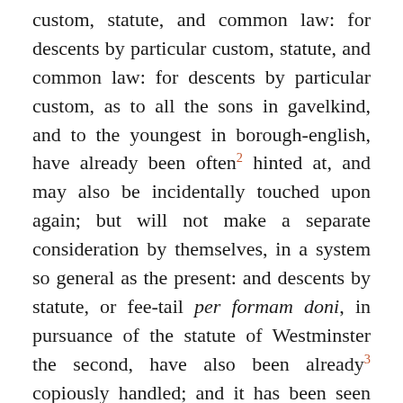custom, statute, and common law: for descents by particular custom, statute, and common law: for descents by particular custom, as to all the sons in gavelkind, and to the youngest in borough-english, have already been often² hinted at, and may also be incidentally touched upon again; but will not make a separate consideration by themselves, in a system so general as the present: and descents by statute, or fee-tail per formam doni, in pursuance of the statute of Westminster the second, have also been already³ copiously handled; and it has been seen that the descent in tail is restrained and regulated according to the words of the original donation, and does not entirely pursue the common law doctrine of inheritance; which, and which only, it will now be our business to explain.